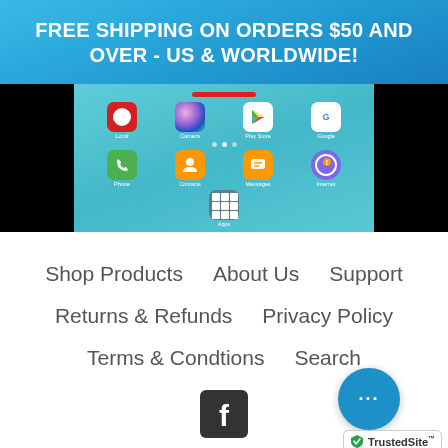FREE SHIPPING ON ORDERS $50 AND OVER - US & WORLDWIDE!
[Figure (screenshot): Screenshot of a Samsung Android phone home screen showing app icons including Local, Camera, Play Store, Google, Phone, Contacts, Messages, Internet, and Apps on a teal background, flanked by black areas]
Shop Products    About Us    Support
Returns & Refunds    Privacy Policy
Terms & Condtions    Search
[Figure (logo): Facebook logo icon (white F on dark background)]
[Figure (other): Blue circular chat bubble button with three dots]
[Figure (logo): TrustedSite badge with green checkmark]